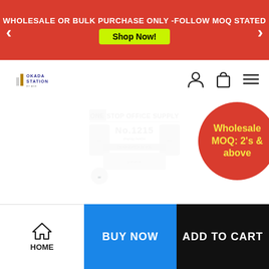WHOLESALE OR BULK PURCHASE ONLY -FOLLOW MOQ STATED
Shop Now!
[Figure (logo): Okada Station logo with small shop icon]
[Figure (photo): Faded watermark product image: One Stop Office Supply, No. 1215 display holder, supplier details]
Wholesale MOQ: 2's & above
HOME
BUY NOW
ADD TO CART